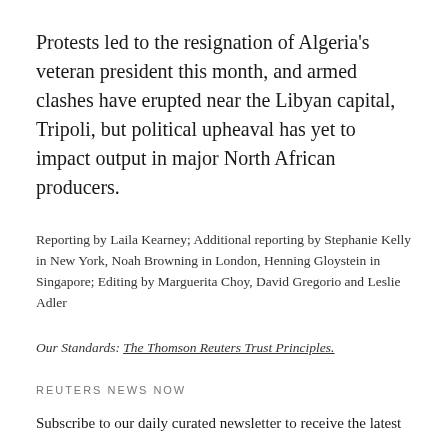Protests led to the resignation of Algeria's veteran president this month, and armed clashes have erupted near the Libyan capital, Tripoli, but political upheaval has yet to impact output in major North African producers.
Reporting by Laila Kearney; Additional reporting by Stephanie Kelly in New York, Noah Browning in London, Henning Gloystein in Singapore; Editing by Marguerita Choy, David Gregorio and Leslie Adler
Our Standards: The Thomson Reuters Trust Principles.
REUTERS NEWS NOW
Subscribe to our daily curated newsletter to receive the latest